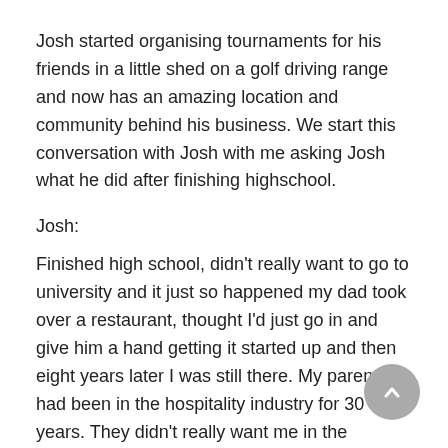Josh started organising tournaments for his friends in a little shed on a golf driving range and now has an amazing location and community behind his business. We start this conversation with Josh with me asking Josh what he did after finishing highschool.
Josh:
Finished high school, didn't really want to go to university and it just so happened my dad took over a restaurant, thought I'd just go in and give him a hand getting it started up and then eight years later I was still there. My parents had been in the hospitality industry for 30 years. They didn't really want me in the industry, but-
Adam: